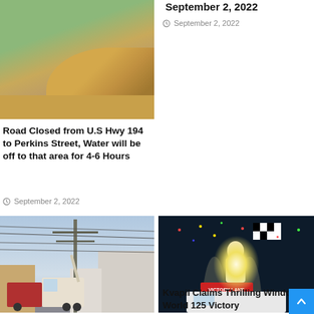[Figure (photo): Aerial or road-level photo of a road with sandy/muddy water and green vegetation]
September 2, 2022
September 2, 2022
Road Closed from U.S Hwy 194 to Perkins Street, Water will be off to that area for 4-6 Hours
September 2, 2022
[Figure (photo): Street scene with utility poles and power lines, utility truck and workers]
[Figure (photo): Racing victory celebration with driver holding checkered flag]
Kvapil Claims Thrilling Window World 125 Victory